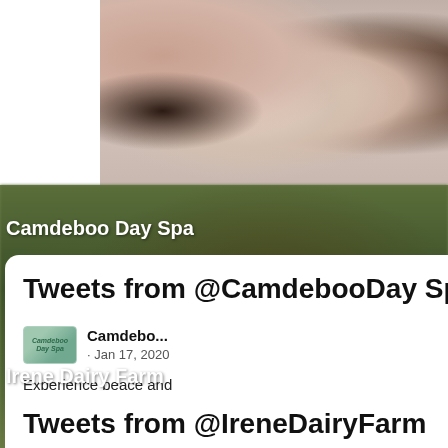[Figure (photo): Photo of four women smiling, appearing to be at a spa, wearing light pink/neutral tones, photographed against a light background.]
Camdeboo Day Spa
Tweets from @CamdebooDay Spa
Camdebo... · Jan 17, 2020
Experience peace and tranquillity from the
Irene Dairy Farm
Tweets from @IreneDairyFarm